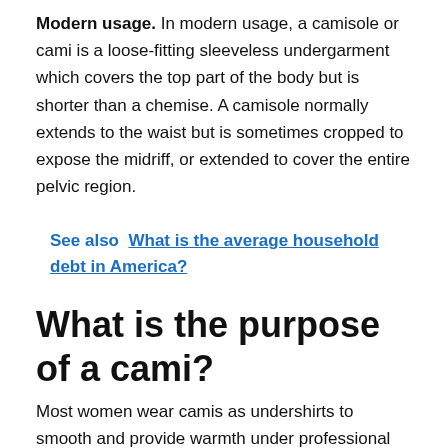Modern usage. In modern usage, a camisole or cami is a loose-fitting sleeveless undergarment which covers the top part of the body but is shorter than a chemise. A camisole normally extends to the waist but is sometimes cropped to expose the midriff, or extended to cover the entire pelvic region.
See also  What is the average household debt in America?
What is the purpose of a cami?
Most women wear camis as undershirts to smooth and provide warmth under professional attire, or as casual tops that are convenient for around-the-house wear.Dec 2, 2019
What is a women's Cami?